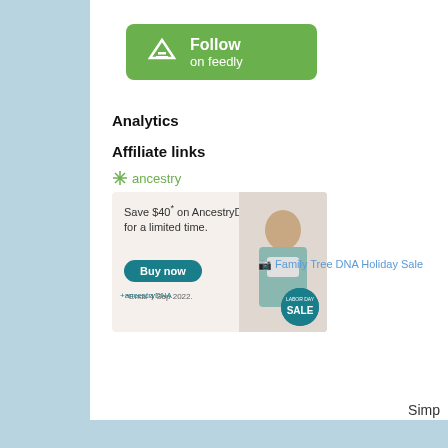[Figure (logo): Follow on Feedly green button with Feedly logo icon, white text 'Follow on feedly']
Analytics
Affiliate links
[Figure (infographic): Ancestry.com advertisement: Save $40* on AncestryDNA for a limited time. Buy now button, *Ends 4 Sep 2022. Shows man with laptop and AncestryDNA Labor Day SALE badge.]
[Figure (other): Family Tree DNA Holiday Sale link/image placeholder]
Simp